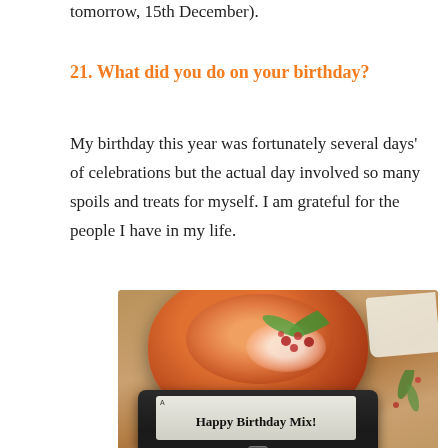tomorrow, 15th December).
21. What did you do on your birthday?
My birthday this year was fortunately several days' of celebrations but the actual day involved so many spoils and treats for myself. I am grateful for the people I have in my life.
[Figure (photo): A photo showing a bowl of food garnished with herbs and berries, with a hand holding a cassette tape labeled 'Happy Birthday Mix!' (Elite UD C90) in the foreground.]